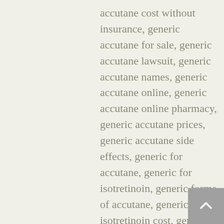accutane cost without insurance, generic accutane for sale, generic accutane lawsuit, generic accutane names, generic accutane online, generic accutane online pharmacy, generic accutane prices, generic accutane side effects, generic for accutane, generic for isotretinoin, generic forms of accutane, generic isotretinoin cost, generic of accutane, generic version of accutane, get accutane online, how to become a